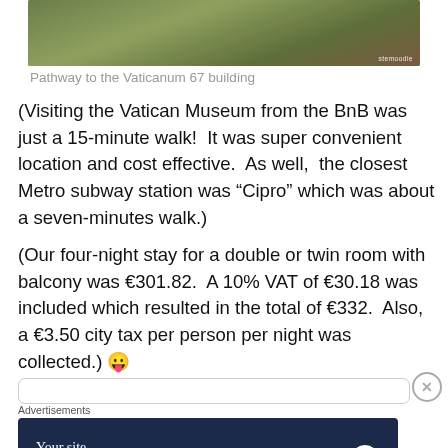[Figure (photo): Partial photo showing pathway/outdoor area near the Vaticanum 67 building with plant pot and greenery visible. Watermark 'stemoodie' in bottom right.]
Pathway to the Vaticanum 67 building
(Visiting the Vatican Museum from the BnB was just a 15-minute walk!  It was super convenient location and cost effective.  As well,  the closest Metro subway station was “Cipro” which was about a seven-minutes walk.)
(Our four-night stay for a double or twin room with balcony was €301.82.  A 10% VAT of €30.18 was included which resulted in the total of €332.  Also, a €3.50 city tax per person per night was collected.) 😛
Advertisements
[Figure (screenshot): Advertisement banner: dark navy background with text 'Your site. Built by us. Built for you.' and 'Built By' with WordPress logo on the right.]